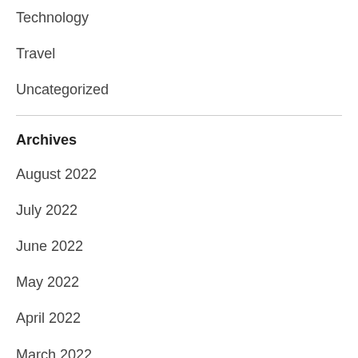Technology
Travel
Uncategorized
Archives
August 2022
July 2022
June 2022
May 2022
April 2022
March 2022
February 2022
January 2022
December 2021